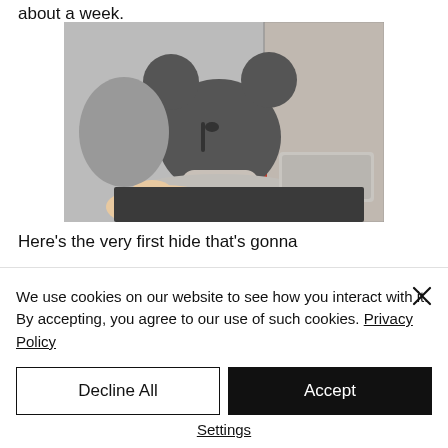about a week.
[Figure (photo): A hand holding a clay ceramic Mickey Mouse shaped incense burner or candle holder, in gray unfired clay, sitting on a potter's wheel on a worktable with craft supplies in the background.]
Here's the very first hide that's gonna
We use cookies on our website to see how you interact with it. By accepting, you agree to our use of such cookies. Privacy Policy
Decline All
Accept
Settings